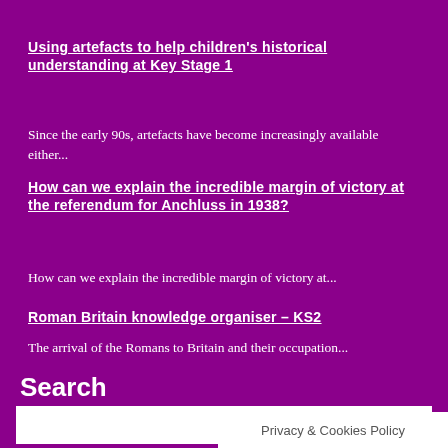Using artefacts to help children's historical understanding at Key Stage 1
Since the early 90s, artefacts have become increasingly available either...
How can we explain the incredible margin of victory at the referendum for Anchluss in 1938?
How can we explain the incredible margin of victory at...
Roman Britain knowledge organiser – KS2
The arrival of the Romans to Britain and their occupation...
Search
Search
Privacy & Cookies Policy